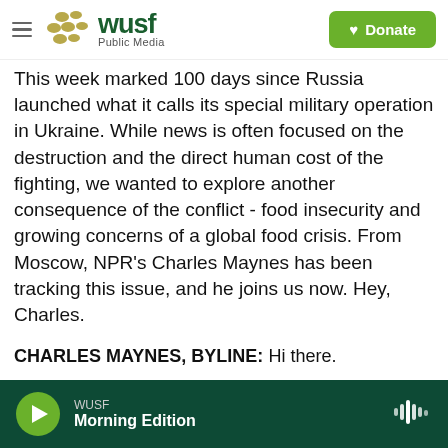WUSF Public Media — Donate
This week marked 100 days since Russia launched what it calls its special military operation in Ukraine. While news is often focused on the destruction and the direct human cost of the fighting, we wanted to explore another consequence of the conflict - food insecurity and growing concerns of a global food crisis. From Moscow, NPR's Charles Maynes has been tracking this issue, and he joins us now. Hey, Charles.
CHARLES MAYNES, BYLINE: Hi there.
NADWORNY: So how did we get into this situation?
WUSF Morning Edition